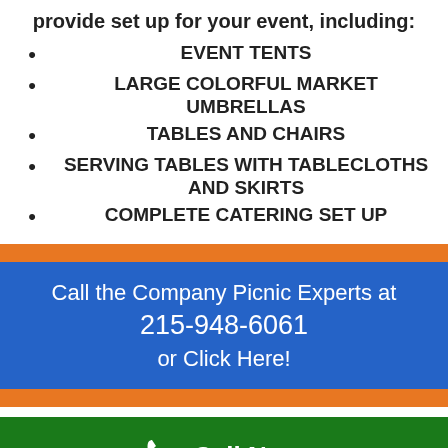provide set up for your event, including:
EVENT TENTS
LARGE COLORFUL MARKET UMBRELLAS
TABLES AND CHAIRS
SERVING TABLES WITH TABLECLOTHS AND SKIRTS
COMPLETE CATERING SET UP
Call the Company Picnic Experts at 215-948-6061 or Click Here!
Call Now